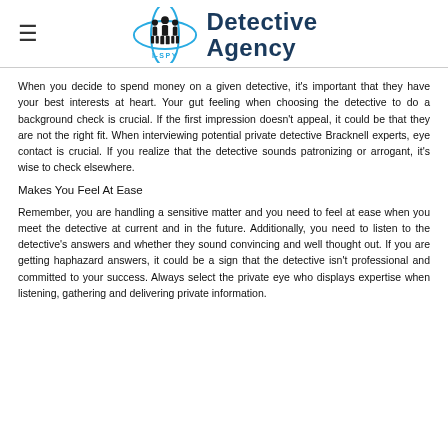I-SPY Detective Agency
When you decide to spend money on a given detective, it's important that they have your best interests at heart. Your gut feeling when choosing the detective to do a background check is crucial. If the first impression doesn't appeal, it could be that they are not the right fit. When interviewing potential private detective Bracknell experts, eye contact is crucial. If you realize that the detective sounds patronizing or arrogant, it's wise to check elsewhere.
Makes You Feel At Ease
Remember, you are handling a sensitive matter and you need to feel at ease when you meet the detective at current and in the future. Additionally, you need to listen to the detective's answers and whether they sound convincing and well thought out. If you are getting haphazard answers, it could be a sign that the detective isn't professional and committed to your success. Always select the private eye who displays expertise when listening, gathering and delivering private information.